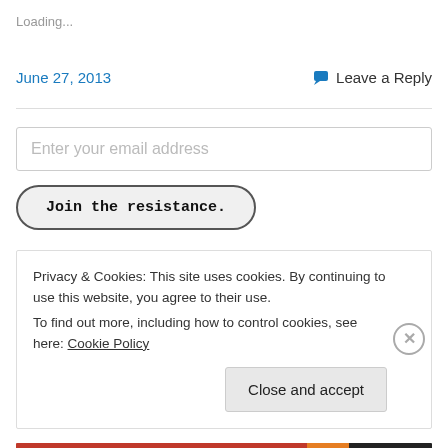Loading...
June 27, 2013
Leave a Reply
Enter your email address
Join the resistance.
Privacy & Cookies: This site uses cookies. By continuing to use this website, you agree to their use.
To find out more, including how to control cookies, see here: Cookie Policy
Close and accept